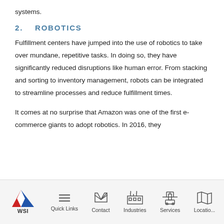systems.
2.   ROBOTICS
Fulfillment centers have jumped into the use of robotics to take over mundane, repetitive tasks. In doing so, they have significantly reduced disruptions like human error. From stacking and sorting to inventory management, robots can be integrated to streamline processes and reduce fulfillment times.
It comes at no surprise that Amazon was one of the first e-commerce giants to adopt robotics. In 2016, they
WSI | Quick Links | Contact | Industries | Services | Locations